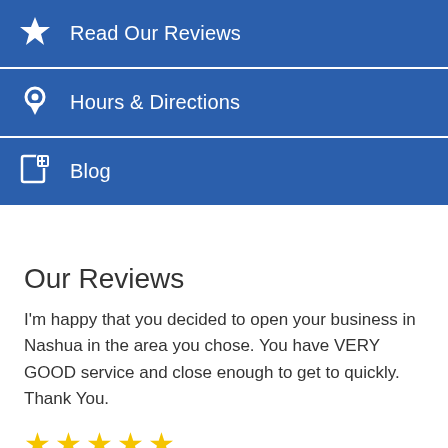Read Our Reviews
Hours & Directions
Blog
Our Reviews
I'm happy that you decided to open your business in Nashua in the area you chose. You have VERY GOOD service and close enough to get to quickly. Thank You.
[Figure (other): Five gold stars rating]
- Gabrielle R. (Patient since 2014)